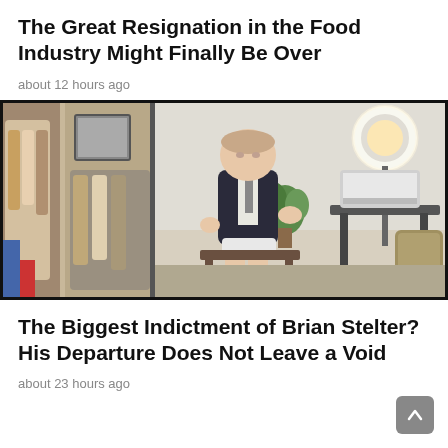The Great Resignation in the Food Industry Might Finally Be Over
about 12 hours ago
[Figure (photo): A man in a suit jacket but without trousers sitting/standing in a home room with closet, ring light, and desk visible in background]
The Biggest Indictment of Brian Stelter? His Departure Does Not Leave a Void
about 23 hours ago